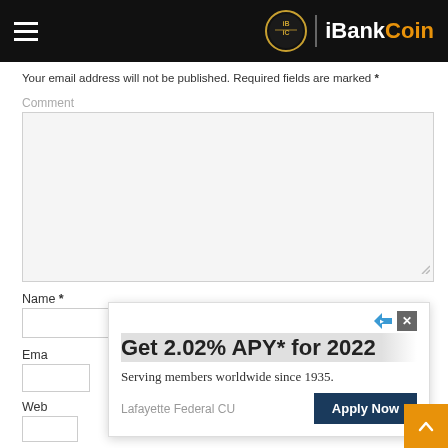iBankCoin
Your email address will not be published. Required fields are marked *
Comment
Name *
Ema
Web
[Figure (screenshot): Advertisement overlay: 'Get 2.02% APY* for 2022 - Serving members worldwide since 1935. Lafayette Federal CU - Apply Now button']